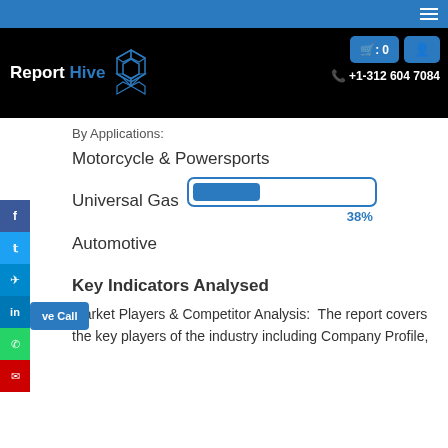Report Hive — website header with logo, cart button (0), user button, phone +1-312 604 7084
By Applications:
Motorcycle & Powersports
Universal Gas
[Figure (infographic): Progress bar showing 38% fill, outlined in blue, labeled 38%]
Automotive
Key Indicators Analysed
Market Players & Competitor Analysis: The report covers the key players of the industry including Company Profile,